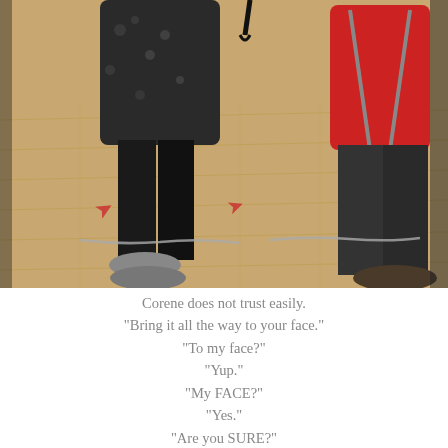[Figure (photo): Two people standing on a wooden gymnasium floor. On the left, a person wearing a dark floral/skull-print top and black leggings with grey sneakers. On the right, a person in a red shirt, dark pants with suspenders and dark shoes. A chain lies on the floor between them. Red arrow markers are visible on the floor in the background.]
Corene does not trust easily.
"Bring it all the way to your face."
"To my face?"
"Yup."
"My FACE?"
"Yes."
"Are you SURE?"